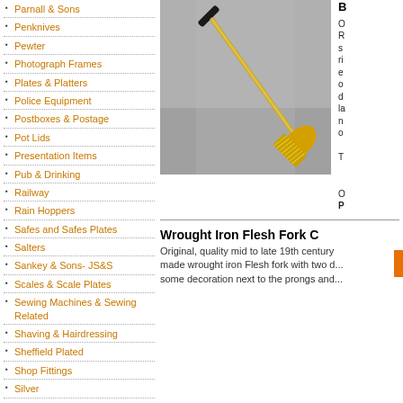Parnall & Sons
Penknives
Pewter
Photograph Frames
Plates & Platters
Police Equipment
Postboxes & Postage
Pot Lids
Presentation Items
Pub & Drinking
Railway
Rain Hoppers
Safes and Safes Plates
Salters
Sankey & Sons- JS&S
Scales & Scale Plates
Sewing Machines & Sewing Related
Shaving & Hairdressing
Sheffield Plated
Shop Fittings
Silver
Smoking
[Figure (photo): A long-handled brush with yellow bristles leaning against a grey wall]
Original, quality mid to late 19th century made wrought iron Flesh fork with two d... some decoration next to the prongs and...
Wrought Iron Flesh Fork C